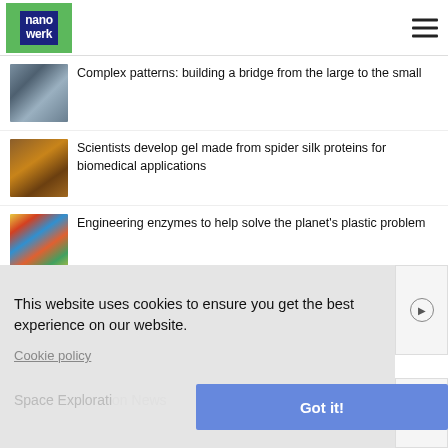[Figure (logo): Nanowerk logo - green background with dark blue text reading 'nano werk']
Complex patterns: building a bridge from the large to the small
Scientists develop gel made from spider silk proteins for biomedical applications
Engineering enzymes to help solve the planet's plastic problem
This website uses cookies to ensure you get the best experience on our website.
Cookie policy
Space Exploration News
Got it!